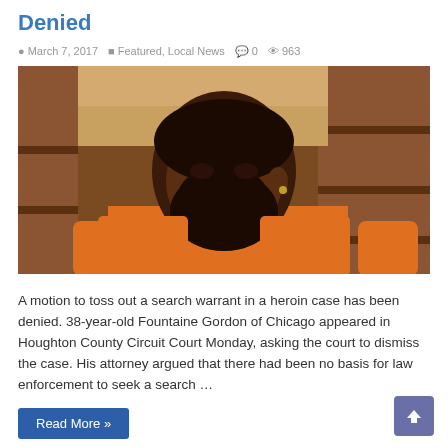Denied
March 7, 2017   Featured, Local News   0   963
[Figure (photo): A man in an orange jail jumpsuit seated in a courtroom with wooden benches visible in the background.]
A motion to toss out a search warrant in a heroin case has been denied. 38-year-old Fountaine Gordon of Chicago appeared in Houghton County Circuit Court Monday, asking the court to dismiss the case. His attorney argued that there had been no basis for law enforcement to seek a search …
Read More »